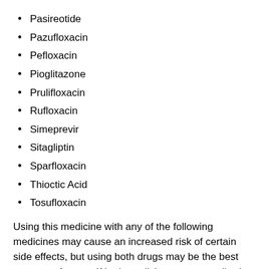Pasireotide
Pazufloxacin
Pefloxacin
Pioglitazone
Prulifloxacin
Rufloxacin
Simeprevir
Sitagliptin
Sparfloxacin
Thioctic Acid
Tosufloxacin
Using this medicine with any of the following medicines may cause an increased risk of certain side effects, but using both drugs may be the best treatment for you. If both medicines are prescribed together, your doctor may change the dose or how often you use one or both of the medicines.